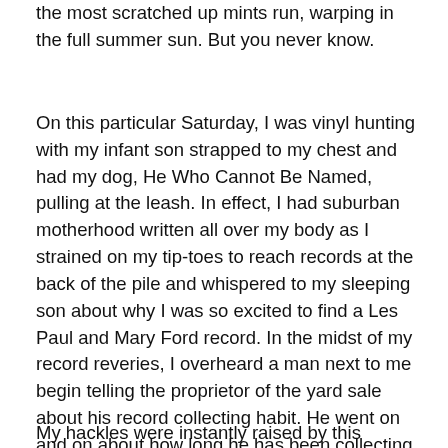the most scratched up mints run, warping in the full summer sun.  But you never know.
On this particular Saturday, I was vinyl hunting with my infant son strapped to my chest and had my dog, He Who Cannot Be Named, pulling at the leash.  In effect, I had suburban motherhood written all over my body as I strained on my tip-toes to reach records at the back of the pile and whispered to my sleeping son about why I was so excited to find a Les Paul and Mary Ford record.  In the midst of my record reveries, I overheard a man next to me begin telling the proprietor of the yard sale about his record collecting habit.  He went on and on about how long he has been collecting, how many records he has, how he “just got back from buying a thousand records off a guy in Appalachin.”
My hackles were instantly raised by this conversation